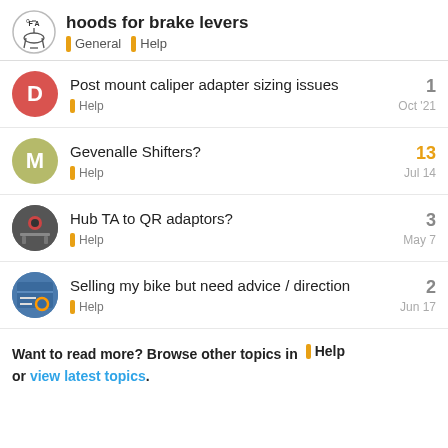hoods for brake levers — General | Help
Post mount caliper adapter sizing issues — Help — Oct '21 — 1 reply
Gevenalle Shifters? — Help — Jul 14 — 13 replies
Hub TA to QR adaptors? — Help — May 7 — 3 replies
Selling my bike but need advice / direction — Help — Jun 17 — 2 replies
Want to read more? Browse other topics in Help or view latest topics.